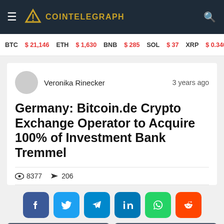COINTELEGRAPH
BTC $21,146   ETH $1,630   BNB $285   SOL $37   XRP $0.3401   BCH $...
Veronika Rinecker   3 years ago
Germany: Bitcoin.de Crypto Exchange Operator to Acquire 100% of Investment Bank Tremmel
8377   206
[Figure (infographic): Social share buttons: Facebook, Twitter, Telegram, LinkedIn, WhatsApp, Reddit]
< navigation prev   > navigation next